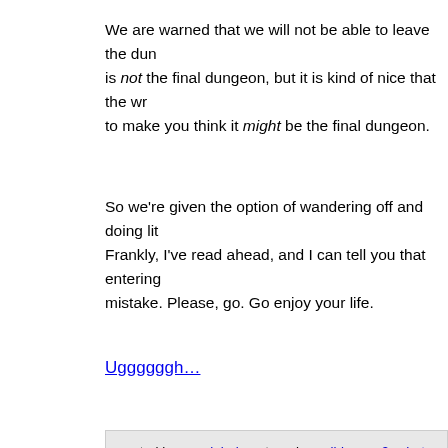We are warned that we will not be able to leave the dun is not the final dungeon, but it is kind of nice that the wr to make you think it might be the final dungeon.
So we're given the option of wandering off and doing lit Frankly, I've read ahead, and I can tell you that entering mistake. Please, go. Go enjoy your life.
Uggggggh…
posted by gogglebob. categories: wild arms 2: what in blazes. tags ashley winchester, wild arms, localization, dungeon theory, let's pla guardians, colette mapleleaf, altecia rune valeri